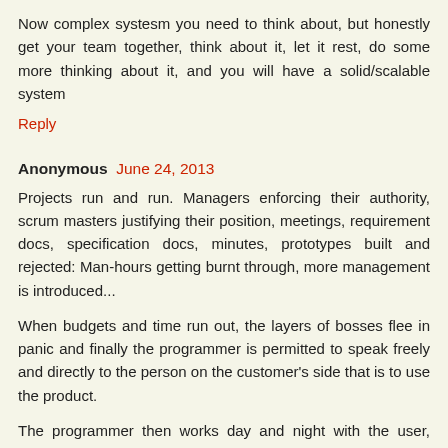Now complex systesm you need to think about, but honestly get your team together, think about it, let it rest, do some more thinking about it, and you will have a solid/scalable system
Reply
Anonymous  June 24, 2013
Projects run and run. Managers enforcing their authority, scrum masters justifying their position, meetings, requirement docs, specification docs, minutes, prototypes built and rejected: Man-hours getting burnt through, more management is introduced...
When budgets and time run out, the layers of bosses flee in panic and finally the programmer is permitted to speak freely and directly to the person on the customer's side that is to use the product.
The programmer then works day and night with the user, often moving on-site to the customer. Unhindered by